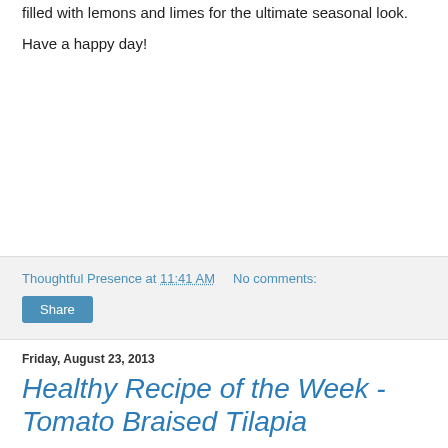filled with lemons and limes for the ultimate seasonal look.
Have a happy day!
Thoughtful Presence at 11:41 AM    No comments:
Share
Friday, August 23, 2013
Healthy Recipe of the Week - Tomato Braised Tilapia